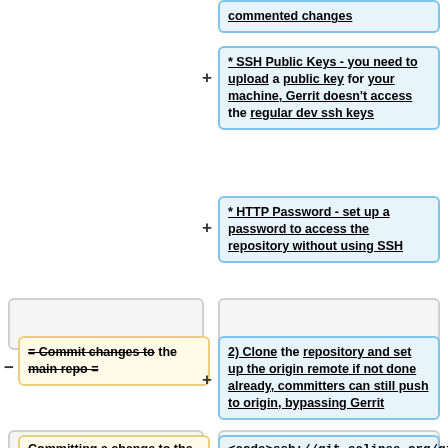commented changes
* SSH Public Keys - you need to upload a public key for your machine, Gerrit doesn't access the regular dev ssh keys
* HTTP Password - set up a password to access the repository without using SSH
= Commit changes to the main repo =
2) Clone the repository and set up the origin remote if not done already, committers can still push to origin, bypassing Gerrit
Committing a change to the
<code>ssh://git.eclipse.org/gitr